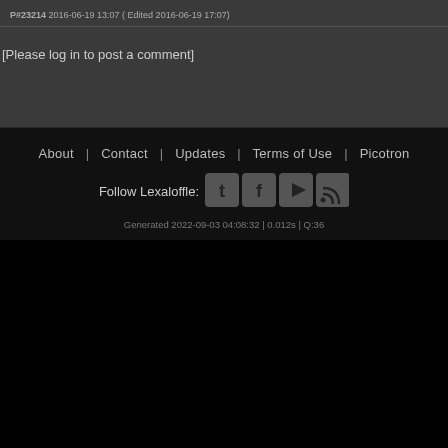P#23214 2016-06-19 13:07 ( Edited 2016-06-19 17:07)
[Please log in to post a comment]
About | Contact | Updates | Terms of Use | Picotron
Follow Lexaloffle:
Generated 2022-09-03 04:08:32 | 0.012s | Q:36